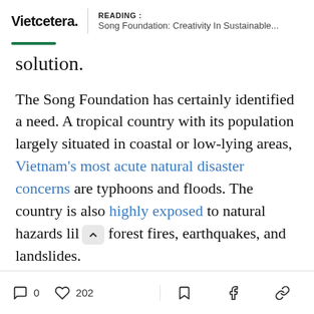READING : Song Foundation: Creativity In Sustainable...
solution.
The Song Foundation has certainly identified a need. A tropical country with its population largely situated in coastal or low-lying areas, Vietnam’s most acute natural disaster concerns are typhoons and floods. The country is also highly exposed to natural hazards lil forest fires, earthquakes, and landslides.
0   202